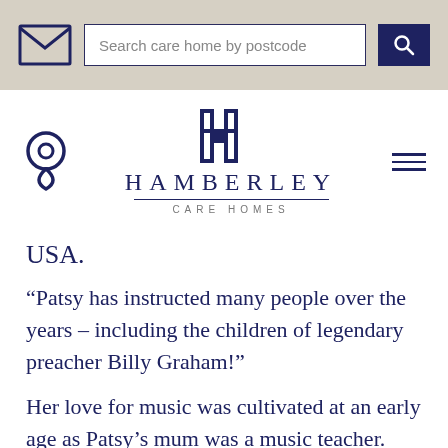[Figure (screenshot): Navigation bar with mail icon, search input 'Search care home by postcode', and search button]
[Figure (logo): Hamberley Care Homes logo with stylized H and text HAMBERLEY / CARE HOMES, flanked by location pin icon and hamburger menu]
USA.
“Patsy has instructed many people over the years – including the children of legendary preacher Billy Graham!”
Her love for music was cultivated at an early age as Patsy’s mum was a music teacher.